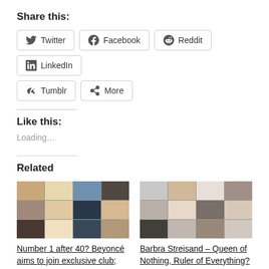Share this:
Twitter | Facebook | Reddit | LinkedIn | Tumblr | More
Like this:
Loading...
Related
[Figure (photo): Mosaic collage of celebrity faces for article about Number 1 after 40 / Beyoncé]
Number 1 after 40? Beyoncé aims to join exclusive club; Here are
[Figure (photo): Mosaic collage featuring Barbra Streisand and others]
Barbra Streisand – Queen of Nothing, Ruler of Everything?